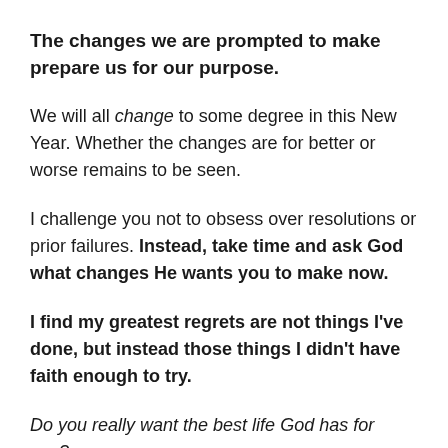The changes we are prompted to make prepare us for our purpose.
We will all change to some degree in this New Year. Whether the changes are for better or worse remains to be seen.
I challenge you not to obsess over resolutions or prior failures. Instead, take time and ask God what changes He wants you to make now.
I find my greatest regrets are not things I've done, but instead those things I didn't have faith enough to try.
Do you really want the best life God has for you?
Enough to sacrifice? Dismiss your detractors? Go it alone